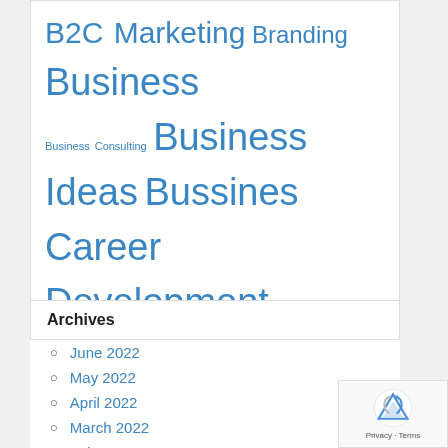[Figure (infographic): Tag cloud with business-related terms in various sizes, all in blue color: B2C Marketing, Branding, Business, Business Consulting, Business Ideas, Bussines, Career Development, Career Management, Careers, E-Business, Home Business, Insurance and Loan, International Business, Marketing, Mortgage, Online Business, Outsourcing, Professional Services, Promotion, Real Estate, Recruitment, Sales, Sales Management, Sales Training, Small Business, Software, Storage Services]
Archives
June 2022
May 2022
April 2022
March 2022
February 2022
January 2022